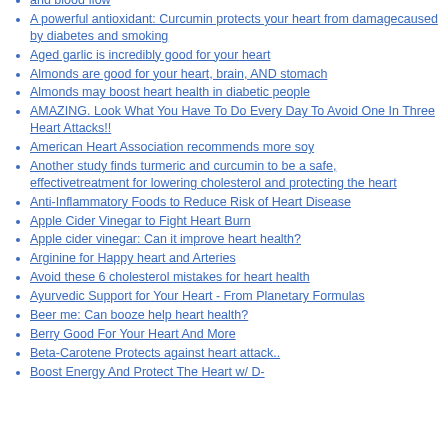[partial] ...and blood flow
A powerful antioxidant: Curcumin protects your heart from damagecaused by diabetes and smoking
Aged garlic is incredibly good for your heart
Almonds are good for your heart, brain, AND stomach
Almonds may boost heart health in diabetic people
AMAZING. Look What You Have To Do Every Day To Avoid One In Three Heart Attacks!!
American Heart Association recommends more soy
Another study finds turmeric and curcumin to be a safe, effectivetreatment for lowering cholesterol and protecting the heart
Anti-Inflammatory Foods to Reduce Risk of Heart Disease
Apple Cider Vinegar to Fight Heart Burn
Apple cider vinegar: Can it improve heart health?
Arginine for Happy heart and Arteries
Avoid these 6 cholesterol mistakes for heart health
Ayurvedic Support for Your Heart - From Planetary Formulas
Beer me: Can booze help heart health?
Berry Good For Your Heart And More
Beta-Carotene Protects against heart attack..
Boost Energy And Protect The Heart w/ D-